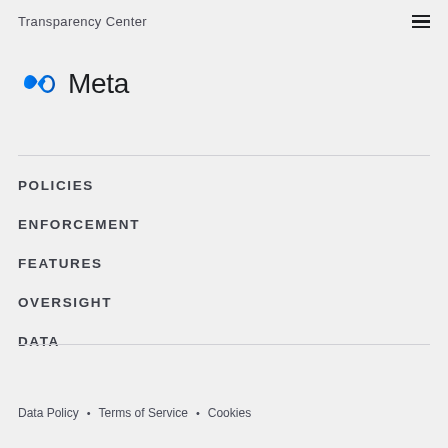Transparency Center
[Figure (logo): Meta logo with infinity symbol in blue and the word Meta in dark text]
POLICIES
ENFORCEMENT
FEATURES
OVERSIGHT
DATA
Data Policy • Terms of Service • Cookies